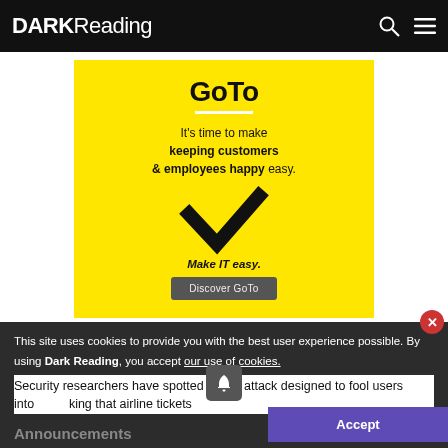DARK Reading
[Figure (infographic): GoTo advertisement on yellow background. Text: It's time to make keeping customers & employees happy easy. Large checkmark graphic. Make IT easy. Discover GoTo button.]
This site uses cookies to provide you with the best user experience possible. By using Dark Reading, you accept our use of cookies.
Security researchers have spotted a new attack designed to fool users into king that airline tickets
Announcements